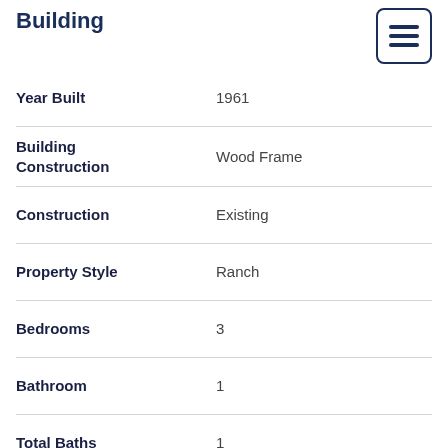Building
| Field | Value |
| --- | --- |
| Year Built | 1961 |
| Building Construction | Wood Frame |
| Construction | Existing |
| Property Style | Ranch |
| Bedrooms | 3 |
| Bathroom | 1 |
| Total Baths | 1 |
| Full Baths | 1 |
| Total Rooms | 5 |
| Square Feet | 835 |
| APX Unfin Below Grade | 900 |